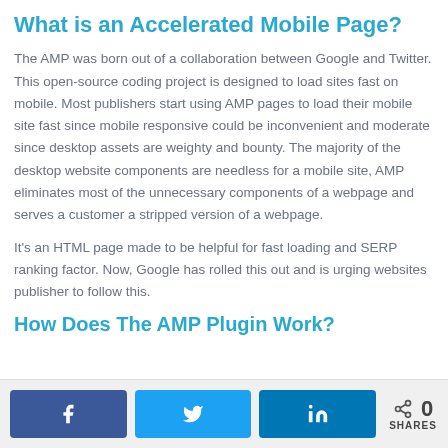What is an Accelerated Mobile Page?
The AMP was born out of a collaboration between Google and Twitter. This open-source coding project is designed to load sites fast on mobile. Most publishers start using AMP pages to load their mobile site fast since mobile responsive could be inconvenient and moderate since desktop assets are weighty and bounty. The majority of the desktop website components are needless for a mobile site, AMP eliminates most of the unnecessary components of a webpage and serves a customer a stripped version of a webpage.
It’s an HTML page made to be helpful for fast loading and SERP ranking factor. Now, Google has rolled this out and is urging websites publisher to follow this.
How Does The AMP Plugin Work?
[Figure (other): Social share bar with Facebook, Twitter, LinkedIn buttons and share count of 0]